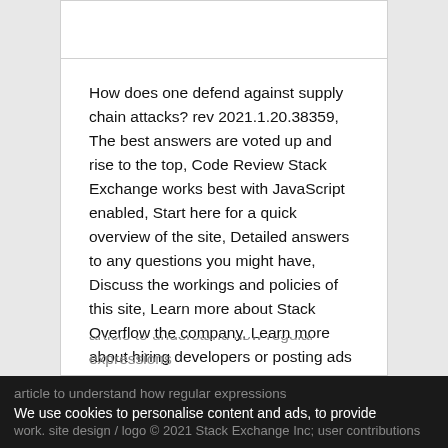How does one defend against supply chain attacks? rev 2021.1.20.38359, The best answers are voted up and rise to the top, Code Review Stack Exchange works best with JavaScript enabled, Start here for a quick overview of the site, Detailed answers to any questions you might have, Discuss the workings and policies of this site, Learn more about Stack Overflow the company, Learn more about hiring developers or posting ads with us. Python program to extract only the numbers from a list which have some specific digits. 28, Nov 17. It is recommended that you read the following article to understand how regular expressions work.
We use cookies to personalise content and ads, to provide